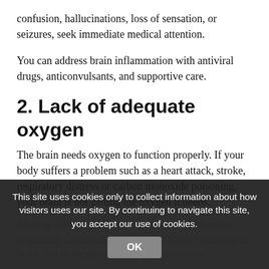confusion, hallucinations, loss of sensation, or seizures, seek immediate medical attention.
You can address brain inflammation with antiviral drugs, anticonvulsants, and supportive care.
2. Lack of adequate oxygen
The brain needs oxygen to function properly. If your body suffers a problem such as a heart attack, stroke, respiratory distress or carbon monoxide poisoning, your brain is not getting the oxygen it needs.
Abusing substances, illegal or prescribed, can lead to respiratory suppression and a lack of oxygen reaching the brain. Not to mention, abusing substances can
This site uses cookies only to collect information about how visitors uses our site. By continuing to navigate this site, you accept our use of cookies.